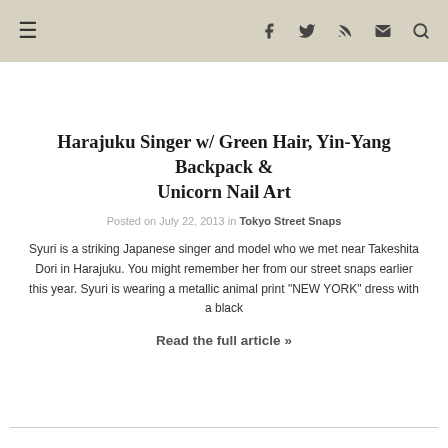☰  f  t  RSS  ✉  🔍
Harajuku Singer w/ Green Hair, Yin-Yang Backpack & Unicorn Nail Art
Posted on July 22, 2013 in Tokyo Street Snaps
Syuri is a striking Japanese singer and model who we met near Takeshita Dori in Harajuku. You might remember her from our street snaps earlier this year. Syuri is wearing a metallic animal print "NEW YORK" dress with a black
Read the full article »